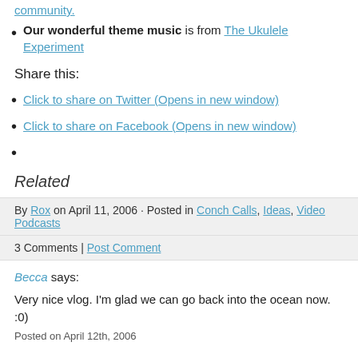community.
Our wonderful theme music is from The Ukulele Experiment
Share this:
Click to share on Twitter (Opens in new window)
Click to share on Facebook (Opens in new window)
Related
By Rox on April 11, 2006 · Posted in Conch Calls, Ideas, Video Podcasts
3 Comments | Post Comment
Becca says:
Very nice vlog. I'm glad we can go back into the ocean now. :0)
Posted on April 12th, 2006
Bridjmon says:
That shot of Lexi anticipating the ball toss, then running off to fetch it compells this request. I'd love to see a "Beach Walk with Rox" from Lexi's perspective. Have enjoyed all 50 (the first 32 I watched in the one day I